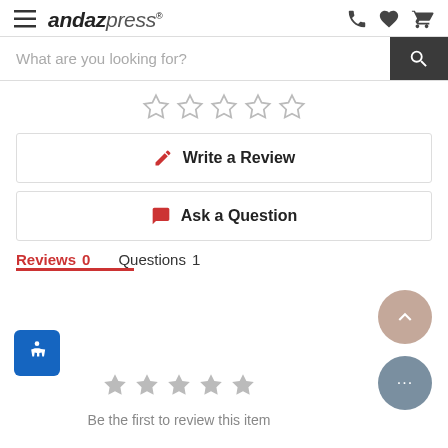andazpress® — navigation header with hamburger menu, logo, phone, heart, cart icons
What are you looking for?
[Figure (other): Five empty outline stars representing rating]
Write a Review
Ask a Question
Reviews 0    Questions 1
[Figure (infographic): Accessibility icon (person with arms out on blue square background)]
[Figure (other): Scroll to top button (chevron up in beige circle)]
[Figure (other): Chat button (ellipsis in grey circle)]
[Figure (other): Five filled grey stars]
Be the first to review this item